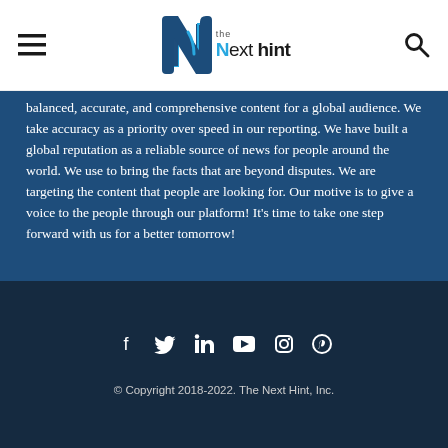The Next Hint
balanced, accurate, and comprehensive content for a global audience. We take accuracy as a priority over speed in our reporting. We have built a global reputation as a reliable source of news for people around the world. We use to bring the facts that are beyond disputes. We are targeting the content that people are looking for. Our motive is to give a voice to the people through our platform! It’s time to take one step forward with us for a better tomorrow!
[Figure (other): Social media icons row: Facebook, Twitter, LinkedIn, YouTube, Instagram, Pinterest]
© Copyright 2018-2022. The Next Hint, Inc.